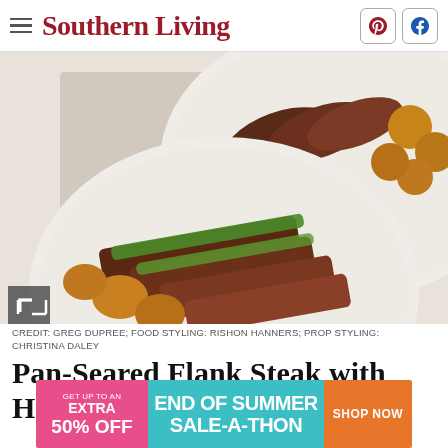Southern Living
[Figure (photo): Two plates of pan-seared flank steak with herb sauce and roasted potatoes on a white marble surface. Top plate shows sliced steak with golden potatoes; bottom plate shows sliced steak topped with green herb sauce and roasted potatoes.]
CREDIT: GREG DUPREE; FOOD STYLING: RISHON HANNERS; PROP STYLING: CHRISTINA DALEY
Pan-Seared Flank Steak with Herb Sauce
[Figure (infographic): Advertisement banner: GET UP TO AN EXTRA 50% OFF | END OF SUMMER SALE-A-THON | SHOP NOW]